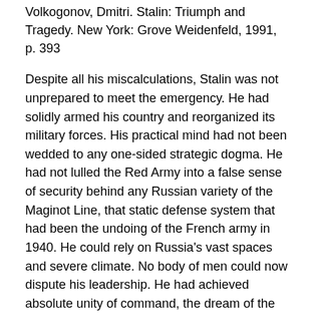Volkogonov, Dmitri. Stalin: Triumph and Tragedy. New York: Grove Weidenfeld, 1991, p. 393
Despite all his miscalculations, Stalin was not unprepared to meet the emergency. He had solidly armed his country and reorganized its military forces. His practical mind had not been wedded to any one-sided strategic dogma. He had not lulled the Red Army into a false sense of security behind any Russian variety of the Maginot Line, that static defense system that had been the undoing of the French army in 1940. He could rely on Russia’s vast spaces and severe climate. No body of men could now dispute his leadership. He had achieved absolute unity of command, the dream of the modern strategist.
Deutscher, Isaac. Stalin; A Political Biography. New York: Oxford Univ. Press, 1967, p. 461
What conclusions can the follower from the facts printed?